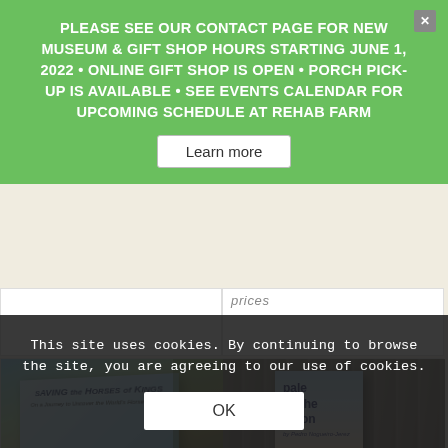PLEASE SEE OUR CONTACT PAGE FOR NEW MUSEUM & GIFT SHOP HOURS STARTING JUNE 1, 2022 • ONLINE GIFT SHOP IS OPEN • PORCH PICK-UP IS AVAILABLE • SEE EVENTS CALENDAR FOR UPCOMING SCHEDULE AT REHAB FARM
Learn more
[Figure (photo): Book cover: Saving the Horses of Kings, shown leaning against outdoor background with horses running on beach depicted on cover]
Book – Saving the Horses of Kings
$15.00
[Figure (photo): Book cover: pale as the moon, showing person riding horse on light blue background with text 'pale as the moon']
Book – Pale as the Moon
This site uses cookies. By continuing to browse the site, you are agreeing to our use of cookies.
OK